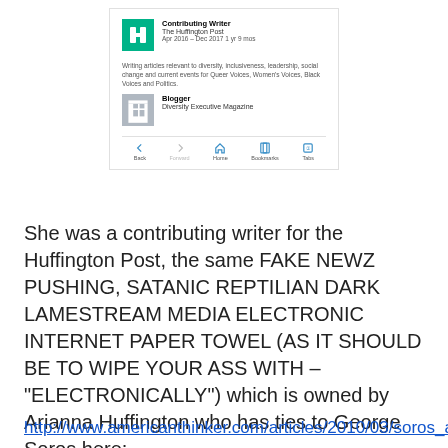[Figure (screenshot): Mobile browser screenshot showing LinkedIn profile entries: Contributing Writer at The Huffington Post (Apr 2016 – Dec 2017 1 yr 9 mos) with description about writing articles on diversity, inclusiveness, leadership, social change and current events for Queer Voices, Women's Voices, Black Voices and Politics. Below that: Blogger at Diversity Executive Magazine. Browser navigation bar at bottom with Back, Forward, Home, Bookmarks, Tabs.]
She was a contributing writer for the Huffington Post, the same FAKE NEWZ PUSHING, SATANIC REPTILIAN DARK LAMESTREAM MEDIA ELECTRONIC INTERNET PAPER TOWEL (AS IT SHOULD BE TO WIPE YOUR ASS WITH – "ELECTRONICALLY") which is owned by Arianna Huffington who has ties to George Soros here:
http://www.americanthinker.com/articles/2010/03/soros_a